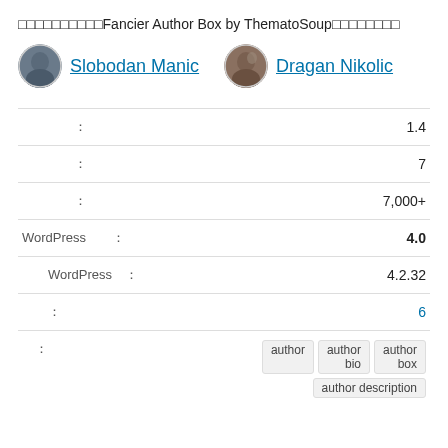□□□□□□□□□□Fancier Author Box by ThematoSoup□□□□□□□□
[Figure (photo): Avatar photo of Slobodan Manic]
Slobodan Manic
[Figure (photo): Avatar photo of Dragan Nikolic]
Dragan Nikolic
| : | 1.4 |
| : | 7 |
| : | 7,000+ |
| WordPress : | 4.0 |
| WordPress : | 4.2.32 |
| : | 6 |
| : | author  author bio  author box  author description |